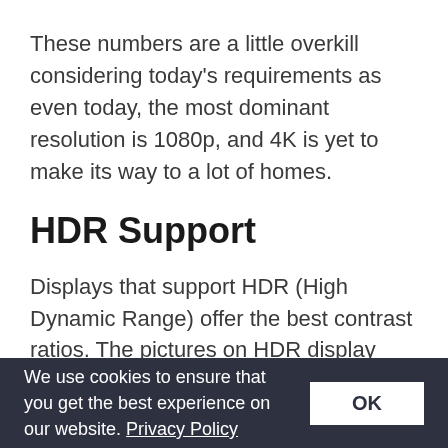These numbers are a little overkill considering today's requirements as even today, the most dominant resolution is 1080p, and 4K is yet to make its way to a lot of homes.
HDR Support
Displays that support HDR (High Dynamic Range) offer the best contrast ratios. The pictures on HDR display look a lot
We use cookies to ensure that you get the best experience on our website. Privacy Policy  OK